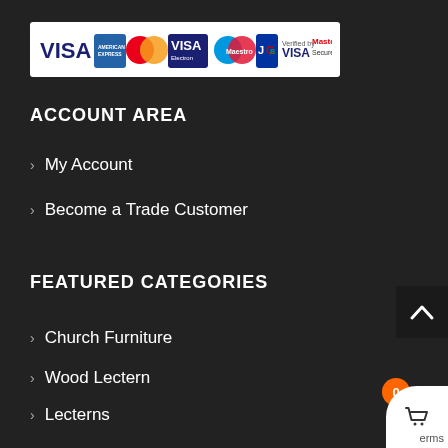[Figure (logo): Payment logos banner showing VISA, American Express, MasterCard, VISA Electron, Maestro, JCB, Verified by VISA, and MasterCard SecureCode]
ACCOUNT AREA
> My Account
> Become a Trade Customer
FEATURED CATEGORIES
> Church Furniture
> Wood Lectern
> Lecterns
> Av furniture
> Av cabinet